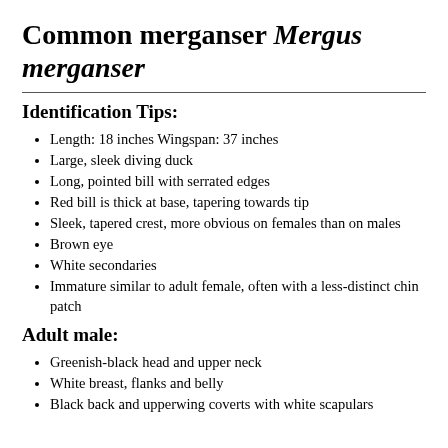Common merganser Mergus merganser
Identification Tips:
Length: 18 inches Wingspan: 37 inches
Large, sleek diving duck
Long, pointed bill with serrated edges
Red bill is thick at base, tapering towards tip
Sleek, tapered crest, more obvious on females than on males
Brown eye
White secondaries
Immature similar to adult female, often with a less-distinct chin patch
Adult male:
Greenish-black head and upper neck
White breast, flanks and belly
Black back and upperwing coverts with white scapulars